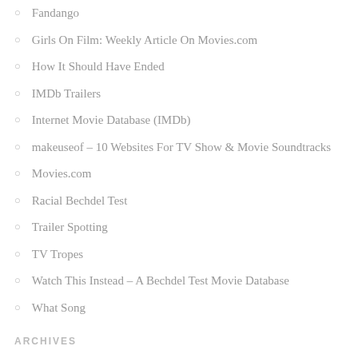Fandango
Girls On Film: Weekly Article On Movies.com
How It Should Have Ended
IMDb Trailers
Internet Movie Database (IMDb)
makeuseof – 10 Websites For TV Show & Movie Soundtracks
Movies.com
Racial Bechdel Test
Trailer Spotting
TV Tropes
Watch This Instead – A Bechdel Test Movie Database
What Song
ARCHIVES
August 2022